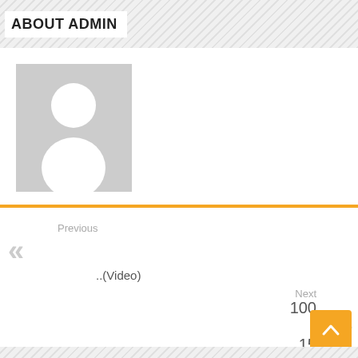ABOUT ADMIN
[Figure (illustration): Generic user avatar placeholder — grey rectangle with white silhouette of a person (head circle and body shape)]
Previous
«
..(Video)
Next
100
»
15
......